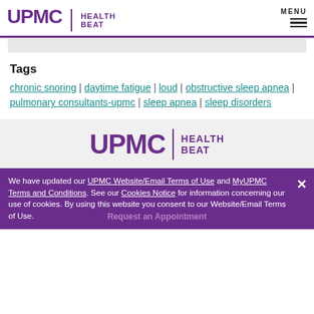UPMC | HEALTH BEAT
Tags
chronic snoring | daytime fatigue | loud | obstructive sleep apnea | pulmonary consultants-upmc | sleep apnea | sleep disorders
[Figure (logo): UPMC Health Beat logo centered on grey background]
We have updated our UPMC Website/Email Terms of Use and MyUPMC Terms and Conditions. See our Cookies Notice for information concerning our use of cookies. By using this website you consent to our Website/Email Terms of Use.